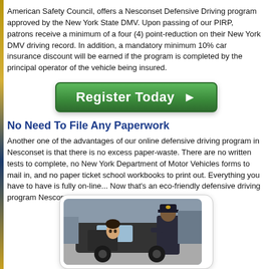American Safety Council, offers a Nesconset Defensive Driving program approved by the New York State DMV. Upon passing of our PIRP, patrons receive a minimum of a four (4) point-reduction on their New York DMV driving record. In addition, a mandatory minimum 10% car insurance discount will be earned if the program is completed by the principal operator of the vehicle being insured.
[Figure (other): Green 'Register Today' button with white text and right-pointing arrow]
No Need To File Any Paperwork
Another one of the advantages of our online defensive driving program in Nesconset is that there is no excess paper-waste. There are no written tests to complete, no New York Department of Motor Vehicles forms to mail in, and no paper ticket school workbooks to print out. Everything you have to have is fully on-line... Now that's an eco-friendly defensive driving program Nesconset residents can count on!
[Figure (photo): Photo of a woman in a car being approached by a police officer in uniform]